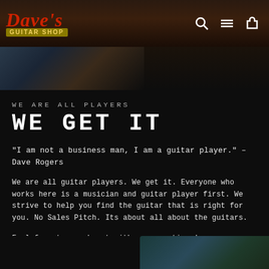Dave's Guitar Shop
[Figure (photo): Partial photo of a musician/guitar player visible at top, dark tones]
WE ARE ALL PLAYERS
WE GET IT
"I am not a business man, I am a guitar player." – Dave Rogers
We are all guitar players. We get it. Everyone who works here is a musician and guitar player first. We strive to help you find the guitar that is right for you. No Sales Pitch. Its about all about the guitars.
Feel free to reach out with any questions!
[Figure (photo): Partial photo of a guitar (teal/turquoise colored) visible at bottom right]